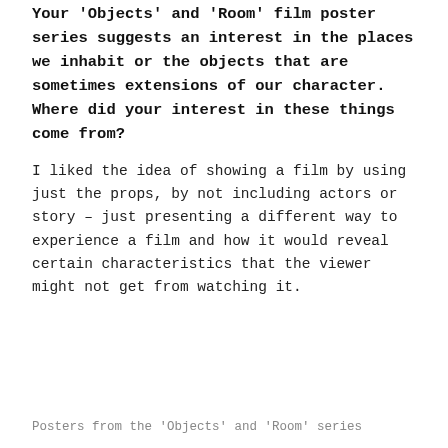Your 'Objects' and 'Room' film poster series suggests an interest in the places we inhabit or the objects that are sometimes extensions of our character. Where did your interest in these things come from?
I liked the idea of showing a film by using just the props, by not including actors or story – just presenting a different way to experience a film and how it would reveal certain characteristics that the viewer might not get from watching it.
Posters from the 'Objects' and 'Room' series
There is a meticulous process to those early